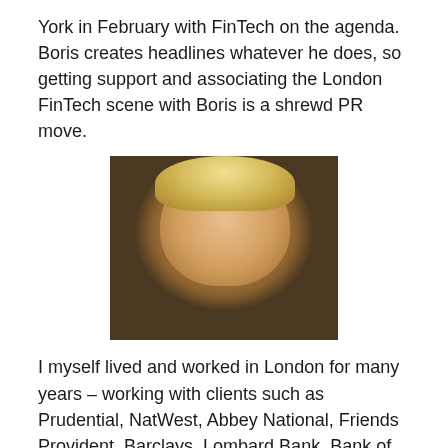York in February with FinTech on the agenda. Boris creates headlines whatever he does, so getting support and associating the London FinTech scene with Boris is a shrewd PR move.
[Figure (photo): Portrait photo of Boris Johnson, a blonde-haired man in a dark jacket]
I myself lived and worked in London for many years – working with clients such as Prudential, NatWest, Abbey National, Friends Provident, Barclays, Lombard Bank, Bank of Scotland and Ford Credit Europe – so I have some first-hand experience.
London's historic trading role, banking center, and associated advantages (talent, infrastructure, nearby